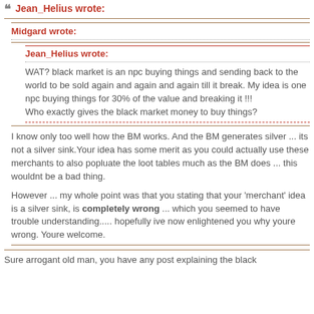Jean_Helius wrote:
Midgard wrote:
Jean_Helius wrote:
WAT? black market is an npc buying things and sending back to the world to be sold again and again and again till it break. My idea is one npc buying things for 30% of the value and breaking it !!!
Who exactly gives the black market money to buy things?
I know only too well how the BM works. And the BM generates silver ... its not a silver sink.Your idea has some merit as you could actually use these merchants to also popluate the loot tables much as the BM does ... this wouldnt be a bad thing.
However ... my whole point was that you stating that your 'merchant' idea is a silver sink, is completely wrong ... which you seemed to have trouble understanding..... hopefully ive now enlightened you why youre wrong. Youre welcome.
Sure arrogant old man, you have any post explaining the black